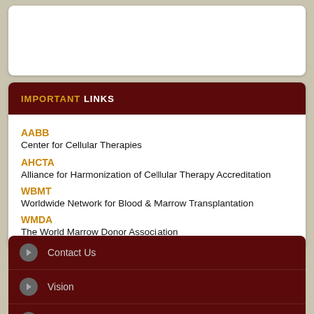IMPORTANT LINKS
AABB
Center for Cellular Therapies
AHCTA
Alliance for Harmonization of Cellular Therapy Accreditation
WBMT
Worldwide Network for Blood & Marrow Transplantation
WMDA
The World Marrow Donor Association
Contact Us
Vision
Purpose
Organizational Structure
Mission